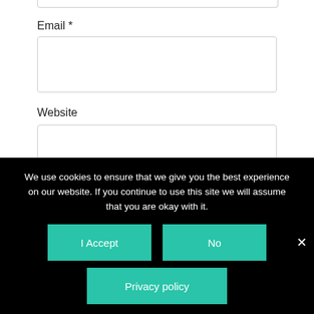Email *
[Figure (screenshot): Email input text field (empty, with rounded border)]
Website
[Figure (screenshot): Website input text field (empty, with rounded border)]
Save my name, email, and website in this browser for the next time I comment.
We use cookies to ensure that we give you the best experience on our website. If you continue to use this site we will assume that you are okay with it.
I Accept
No
Privacy policy